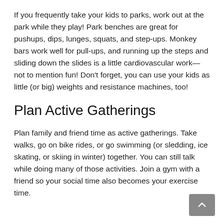If you frequently take your kids to parks, work out at the park while they play! Park benches are great for pushups, dips, lunges, squats, and step-ups. Monkey bars work well for pull-ups, and running up the steps and sliding down the slides is a little cardiovascular work—not to mention fun! Don't forget, you can use your kids as little (or big) weights and resistance machines, too!
Plan Active Gatherings
Plan family and friend time as active gatherings. Take walks, go on bike rides, or go swimming (or sledding, ice skating, or skiing in winter) together. You can still talk while doing many of those activities. Join a gym with a friend so your social time also becomes your exercise time.